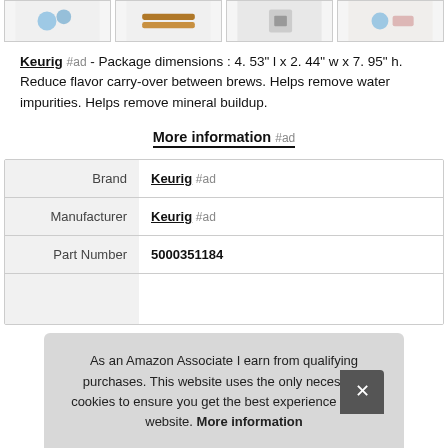[Figure (photo): Four product thumbnail images in a horizontal strip at the top of the page]
Keurig #ad - Package dimensions : 4. 53" l x 2. 44" w x 7. 95" h. Reduce flavor carry-over between brews. Helps remove water impurities. Helps remove mineral buildup.
More information #ad
|  |  |
| --- | --- |
| Brand | Keurig #ad |
| Manufacturer | Keurig #ad |
| Part Number | 5000351184 |
|  |  |
As an Amazon Associate I earn from qualifying purchases. This website uses the only necessary cookies to ensure you get the best experience on our website. More information